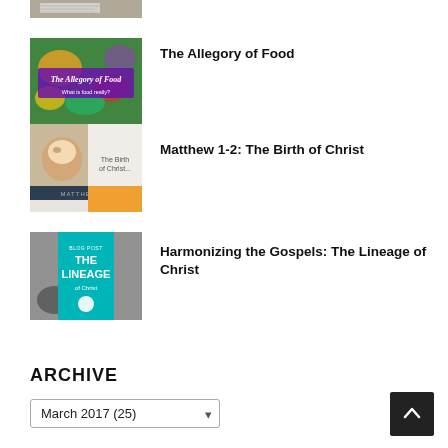[Figure (photo): Thumbnail image partially visible at top - notebook/journal with writing]
[Figure (photo): Thumbnail image: The Allegory of Food - colorful food spread with purple text overlay reading 'The Allegory of Food, What is food really?']
The Allegory of Food
[Figure (photo): Thumbnail image: The Birth of Christ - Matthew 1-2 - image of a lamb/pig with orange/yellow block at bottom and white panel]
Matthew 1-2: The Birth of Christ
[Figure (photo): Thumbnail image: Harmonizing the Gospels: The Lineage - teal/cyan book cover with 'THE LINEAGE' text and geese in black and white background]
Harmonizing the Gospels: The Lineage of Christ
ARCHIVE
March 2017 (25)